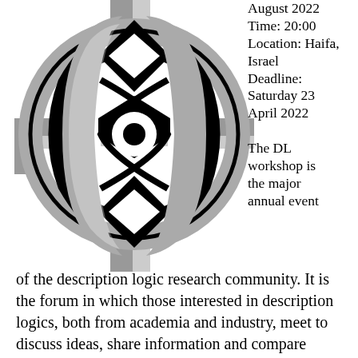[Figure (logo): Decorative knot/logo design in black and gray, resembling an interlaced Celtic or description logic workshop emblem]
August 2022
Time: 20:00
Location: Haifa, Israel
Deadline: Saturday 23 April 2022
The DL workshop is the major annual event
of the description logic research community. It is the forum in which those interested in description logics, both from academia and industry, meet to discuss ideas, share information and compare experiences. The 35th edition will be held in Haifa, Israel, between August 7th and 10th 2022. It will